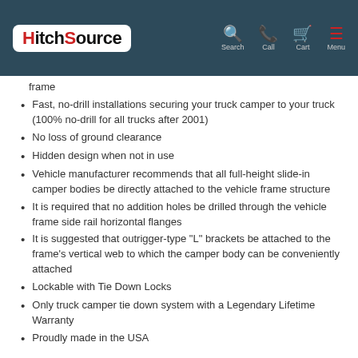HitchSource — Search, Call, Cart, Menu
frame
Fast, no-drill installations securing your truck camper to your truck (100% no-drill for all trucks after 2001)
No loss of ground clearance
Hidden design when not in use
Vehicle manufacturer recommends that all full-height slide-in camper bodies be directly attached to the vehicle frame structure
It is required that no addition holes be drilled through the vehicle frame side rail horizontal flanges
It is suggested that outrigger-type "L" brackets be attached to the frame's vertical web to which the camper body can be conveniently attached
Lockable with Tie Down Locks
Only truck camper tie down system with a Legendary Lifetime Warranty
Proudly made in the USA
Kit Includes: